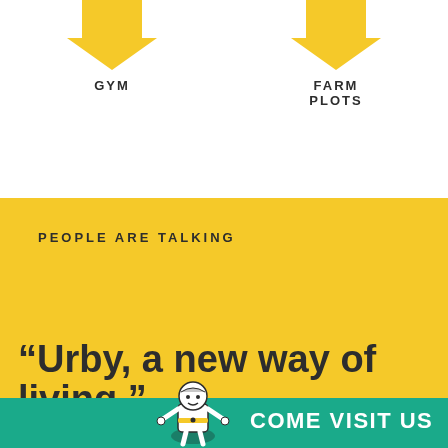[Figure (illustration): Yellow downward-pointing arrow icon for GYM]
GYM
[Figure (illustration): Yellow downward-pointing arrow icon for FARM PLOTS]
FARM PLOTS
PEOPLE ARE TALKING
“Urby, a new way of living.”
[Figure (illustration): Cartoon mascot knight/herald figure in white on teal background]
COME VISIT US